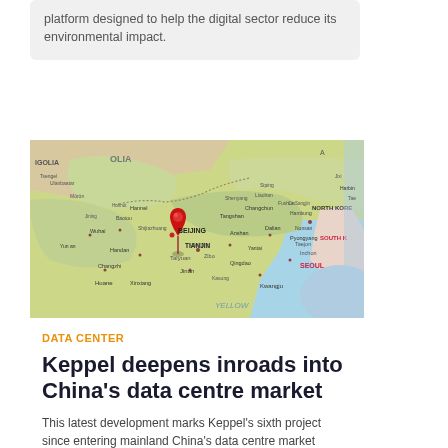platform designed to help the digital sector reduce its environmental impact.
[Figure (map): Map of northeastern China showing Beijing, Tianjin, and surrounding regions with a red location pin placed near Beijing. Neighboring regions visible include North Korea, South Korea, and various Chinese cities.]
DATA CENTER
Keppel deepens inroads into China's data centre market
This latest development marks Keppel's sixth project since entering mainland China's data centre market